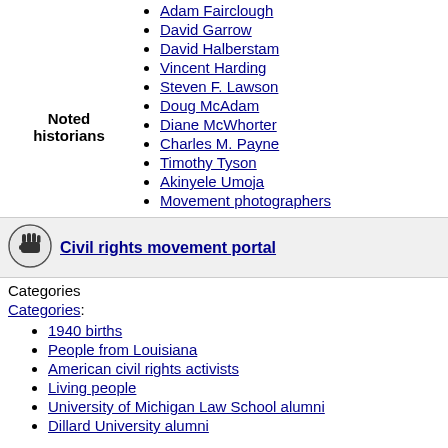Noted historians
Adam Fairclough
David Garrow
David Halberstam
Vincent Harding
Steven F. Lawson
Doug McAdam
Diane McWhorter
Charles M. Payne
Timothy Tyson
Akinyele Umoja
Movement photographers
[Figure (logo): Civil rights movement portal icon — circular emblem with raised fist]
Civil rights movement portal
Categories
Categories:
1940 births
People from Louisiana
American civil rights activists
Living people
University of Michigan Law School alumni
Dillard University alumni